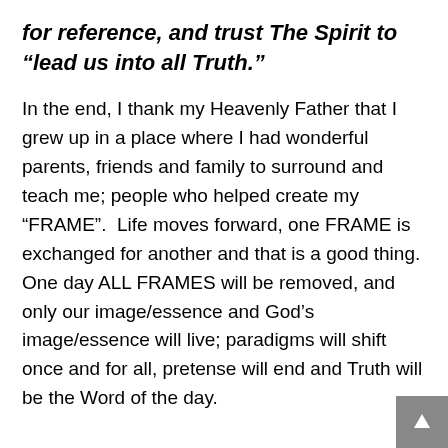for reference, and trust The Spirit to “lead us into all Truth.”
In the end, I thank my Heavenly Father that I grew up in a place where I had wonderful parents, friends and family to surround and teach me; people who helped create my “FRAME”.  Life moves forward, one FRAME is exchanged for another and that is a good thing.  One day ALL FRAMES will be removed, and only our image/essence and God’s image/essence will live; paradigms will shift once and for all, pretense will end and Truth will be the Word of the day.